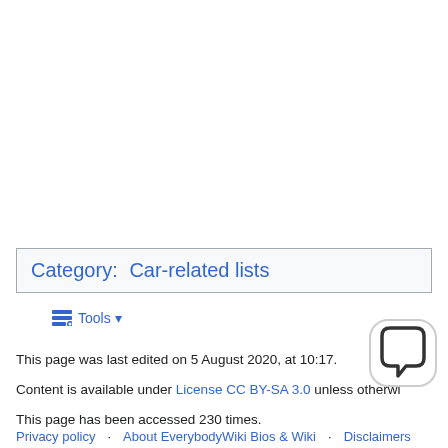Category:   Car-related lists
Tools
This page was last edited on 5 August 2020, at 10:17.
Content is available under License CC BY-SA 3.0 unless otherwi...
This page has been accessed 230 times.
Privacy policy · About EverybodyWiki Bios & Wiki · Disclaimers